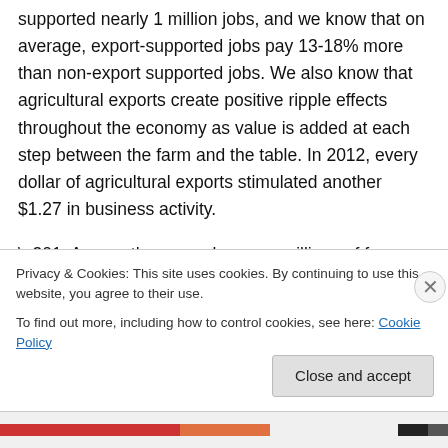supported nearly 1 million jobs, and we know that on average, export-supported jobs pay 13-18% more than non-export supported jobs. We also know that agricultural exports create positive ripple effects throughout the economy as value is added at each step between the farm and the table. In 2012, every dollar of agricultural exports stimulated another $1.27 in business activity.
“Among these numbers are millions of farmers, manufacturers, and small businesses, many of them in Iowa. In 2012, more than 3,300 Iowa companies exported, and more than 88% of them were small or medium…
Privacy & Cookies: This site uses cookies. By continuing to use this website, you agree to their use.
To find out more, including how to control cookies, see here: Cookie Policy